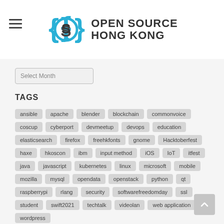Open Source Hong Kong
Select Month
TAGS
ansible
apache
blender
blockchain
commonvoice
coscup
cyberport
devmeetup
devops
education
elasticsearch
firefox
freehkfonts
gnome
Hacktoberfest
haxe
hkoscon
ibm
input method
iOS
IoT
itfest
java
javascript
kubernetes
linux
microsoft
mobile
mozilla
mysql
opendata
openstack
python
qt
raspberrypi
rlang
security
softwarefreedomday
ssl
student
swift2021
techtalk
videolan
web application
wordpress